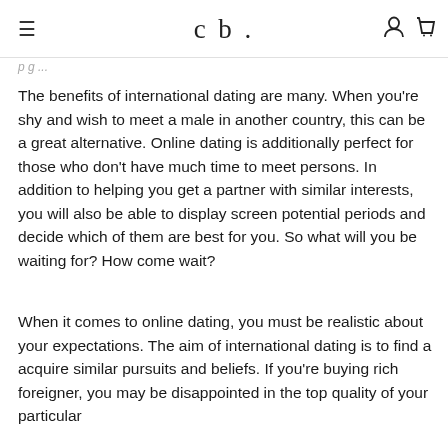cb.
The benefits of international dating are many. When you're shy and wish to meet a male in another country, this can be a great alternative. Online dating is additionally perfect for those who don't have much time to meet persons. In addition to helping you get a partner with similar interests, you will also be able to display screen potential periods and decide which of them are best for you. So what will you be waiting for? How come wait?
When it comes to online dating, you must be realistic about your expectations. The aim of international dating is to find a acquire similar pursuits and beliefs. If you're buying rich foreigner, you may be disappointed in the top quality of your particular